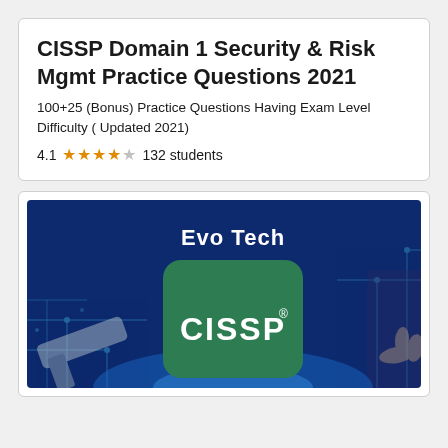CISSP Domain 1 Security & Risk Mgmt Practice Questions 2021
100+25 (Bonus) Practice Questions Having Exam Level Difficulty ( Updated 2021)
4.1 ★★★★☆ 132 students
[Figure (illustration): Course thumbnail showing 'Evo Tech' text on dark blue background with a green rounded square badge displaying 'CISSP®' logo, overlaid on technology/circuit imagery]